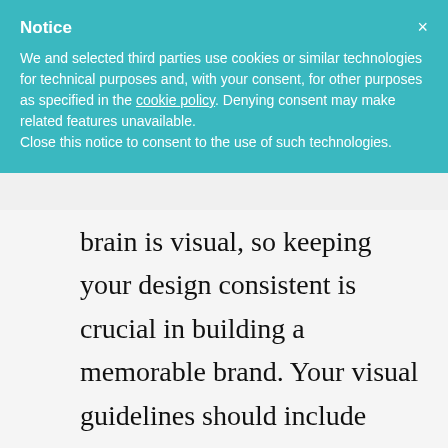Notice
We and selected third parties use cookies or similar technologies for technical purposes and, with your consent, for other purposes as specified in the cookie policy. Denying consent may make related features unavailable.
Close this notice to consent to the use of such technologies.
brain is visual, so keeping your design consistent is crucial in building a memorable brand. Your visual guidelines should include information about your logo, colours, typography, photography, iconography and illustrations.